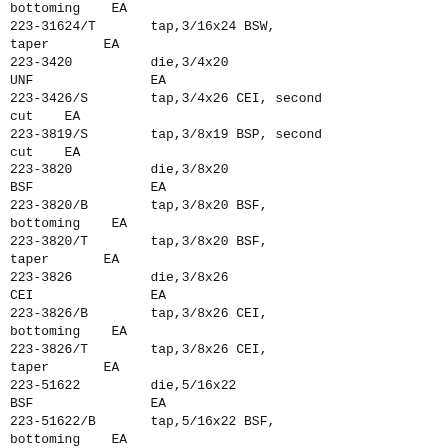| Part Number | Description | Unit |
| --- | --- | --- |
| bottoming | EA |  |
| 223-31624/T | tap,3/16x24 BSW, |  |
| taper | EA |  |
| 223-3420 | die,3/4x20 |  |
| UNF | EA |  |
| 223-3426/S | tap,3/4x26 CEI, second |  |
| cut | EA |  |
| 223-3819/S | tap,3/8x19 BSP, second |  |
| cut | EA |  |
| 223-3820 | die,3/8x20 |  |
| BSF | EA |  |
| 223-3820/B | tap,3/8x20 BSF, |  |
| bottoming | EA |  |
| 223-3820/T | tap,3/8x20 BSF, |  |
| taper | EA |  |
| 223-3826 | die,3/8x26 |  |
| CEI | EA |  |
| 223-3826/B | tap,3/8x26 CEI, |  |
| bottoming | EA |  |
| 223-3826/T | tap,3/8x26 CEI, |  |
| taper | EA |  |
| 223-51622 | die,5/16x22 |  |
| BSF | EA |  |
| 223-51622/B | tap,5/16x22 BSF, |  |
| bottoming | EA |  |
| 223-51622/T | tap,5/16x22 BSF, |  |